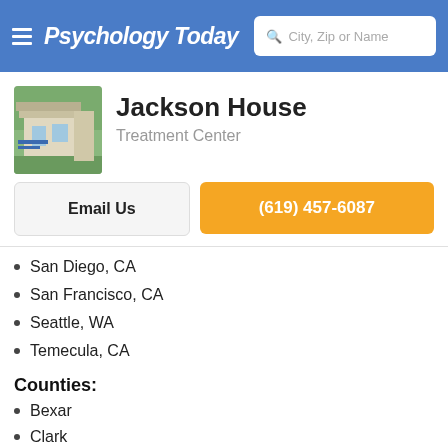Psychology Today — City, Zip or Name search
Jackson House
Treatment Center
Email Us
(619) 457-6087
San Diego, CA
San Francisco, CA
Seattle, WA
Temecula, CA
Counties:
Bexar
Clark
Denver
Harris
King
Los Angeles